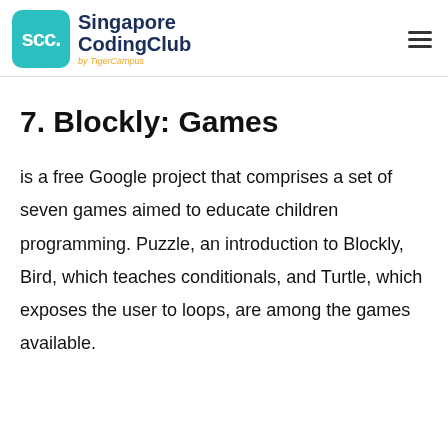SCC. Singapore CodingClub by TigerCampus
7. Blockly: Games
is a free Google project that comprises a set of seven games aimed to educate children programming. Puzzle, an introduction to Blockly, Bird, which teaches conditionals, and Turtle, which exposes the user to loops, are among the games available.